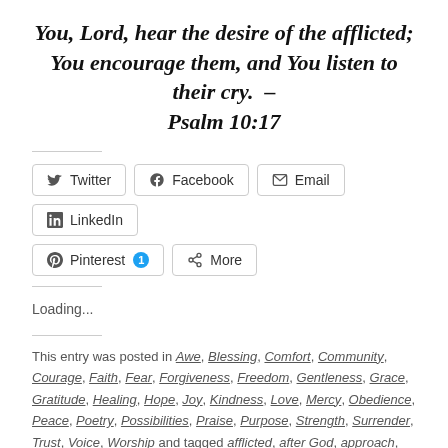You, Lord, hear the desire of the afflicted; You encourage them, and You listen to their cry. – Psalm 10:17
[Figure (screenshot): Social share buttons: Twitter, Facebook, Email, LinkedIn, Pinterest (with badge 1), More]
Loading...
This entry was posted in Awe, Blessing, Comfort, Community, Courage, Faith, Fear, Forgiveness, Freedom, Gentleness, Grace, Gratitude, Healing, Hope, Joy, Kindness, Love, Mercy, Obedience, Peace, Poetry, Possibilities, Praise, Purpose, Strength, Surrender, Trust, Voice, Worship and tagged afflicted, after God, approach, belonging, beside, bless one